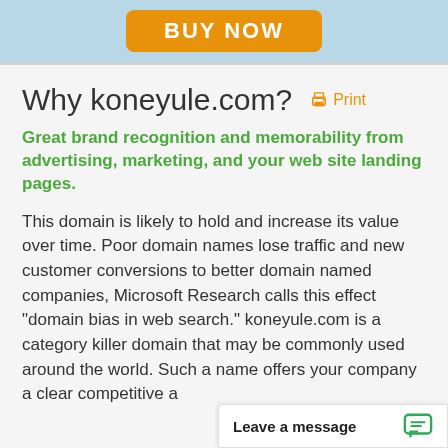[Figure (other): Orange BUY NOW button on light blue background banner]
Why koneyule.com?
Print
Great brand recognition and memorability from advertising, marketing, and your web site landing pages.
This domain is likely to hold and increase its value over time. Poor domain names lose traffic and new customer conversions to better domain named companies, Microsoft Research calls this effect "domain bias in web search." koneyule.com is a category killer domain that may be commonly used around the world. Such a name offers your company a clear competitive a
Leave a message